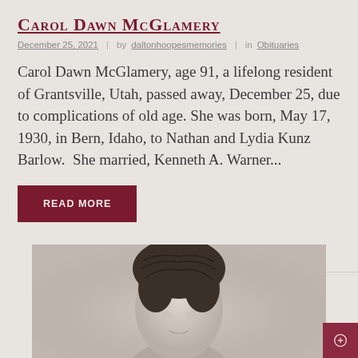Carol Dawn McGlamery
December 25, 2021  |  by daltonhoopesmemories  |  in Obituaries
Carol Dawn McGlamery, age 91, a lifelong resident of Grantsville, Utah, passed away, December 25, due to complications of old age. She was born, May 17, 1930, in Bern, Idaho, to Nathan and Lydia Kunz Barlow.  She married, Kenneth A. Warner...
READ MORE
[Figure (photo): Black and white portrait photograph of a young woman with dark hair styled in an updo, partially visible at the bottom of the page.]